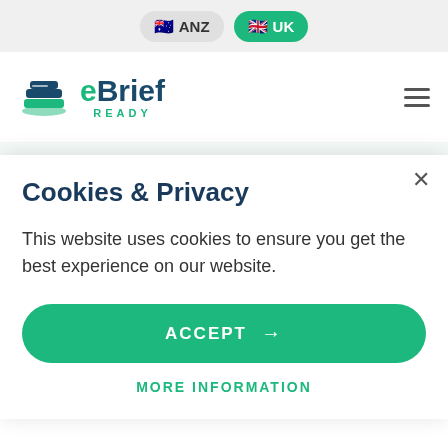ANZ   UK
[Figure (logo): eBrief Ready logo with stacked book icon in teal and dark blue, text 'eBrief READY']
witnesses, and other professionals, we are using best-in-class technology. This helps us help you
Cookies & Privacy
This website uses cookies to ensure you get the best experience on our website.
ACCEPT →
MORE INFORMATION